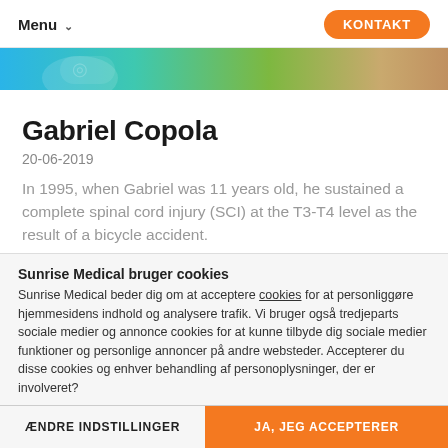Menu  KONTAKT
[Figure (photo): Partial banner image with blue, green, and warm tones — cropped top portion of a person or scene]
Gabriel Copola
20-06-2019
In 1995, when Gabriel was 11 years old, he sustained a complete spinal cord injury (SCI) at the T3-T4 level as the result of a bicycle accident.
Sunrise Medical bruger cookies
Sunrise Medical beder dig om at acceptere cookies for at personliggøre hjemmesidens indhold og analysere trafik. Vi bruger også tredjeparts sociale medier og annonce cookies for at kunne tilbyde dig sociale medier funktioner og personlige annoncer på andre websteder. Accepterer du disse cookies og enhver behandling af personoplysninger, der er involveret?
ÆNDRE INDSTILLINGER   JA, JEG ACCEPTERER